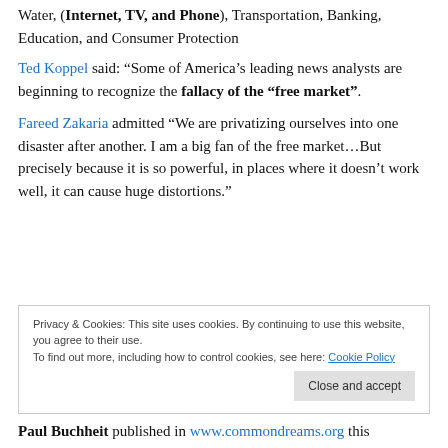Ways Privatization Has Failed: Internet, TV, and Phone, Water, (Internet, TV, and Phone), Transportation, Banking, Education, and Consumer Protection
Ted Koppel said: “Some of America’s leading news analysts are beginning to recognize the fallacy of the “free market”.
Fareed Zakaria admitted “We are privatizing ourselves into one disaster after another. I am a big fan of the free market…But precisely because it is so powerful, in places where it doesn’t work well, it can cause huge distortions.”
Privacy & Cookies: This site uses cookies. By continuing to use this website, you agree to their use. To find out more, including how to control cookies, see here: Cookie Policy Close and accept
Paul Buchheit published in www.commondreams.org this